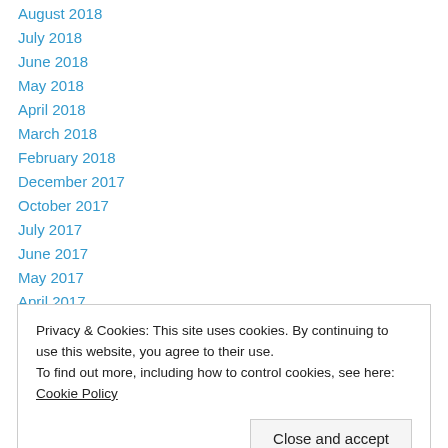August 2018
July 2018
June 2018
May 2018
April 2018
March 2018
February 2018
December 2017
October 2017
July 2017
June 2017
May 2017
April 2017
Privacy & Cookies: This site uses cookies. By continuing to use this website, you agree to their use. To find out more, including how to control cookies, see here: Cookie Policy
Close and accept
August 2016